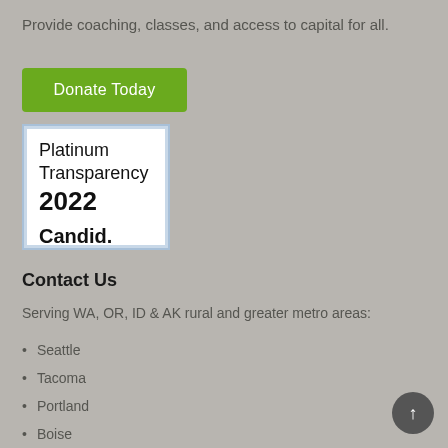Provide coaching, classes, and access to capital for all.
[Figure (other): Green 'Donate Today' button]
[Figure (other): Candid Platinum Transparency 2022 badge — white box with light blue border showing 'Platinum Transparency 2022 Candid.']
Contact Us
Serving WA, OR, ID & AK rural and greater metro areas:
Seattle
Tacoma
Portland
Boise